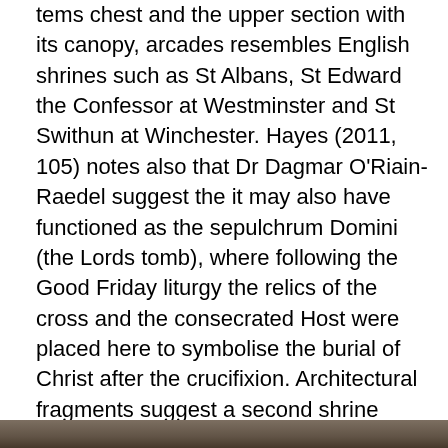tems chest and the upper section with its canopy, arcades resembles English shrines such as St Albans, St Edward the Confessor at Westminster and St Swithun at Winchester. Hayes (2011, 105) notes also that Dr Dagmar O'Riain-Raedel suggest the it may also have functioned as the sepulchrum Domini (the Lords tomb), where following the Good Friday liturgy the relics of the cross and the consecrated Host were placed here to symbolise the burial of Christ after the crucifixion. Architectural fragments suggest a second shrine which may also have displayed a second relic of the cross. These fragments are not on display at present in the abbey but it was recorded in 1913, prior to renovations, as being located in the north-west angle of the north transept. Both structures are contemporary and date to the main period of rebuilding.
[Figure (photo): Partial image strip visible at the bottom of the page, appears to be a photograph of architectural or stone elements.]